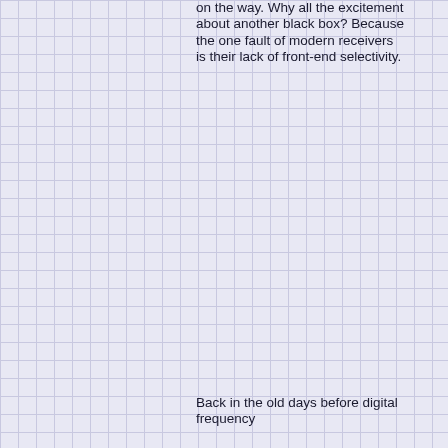on the way. Why all the excitement about another black box? Because the one fault of modern receivers is their lack of front-end selectivity.
Back in the old days before digital frequency